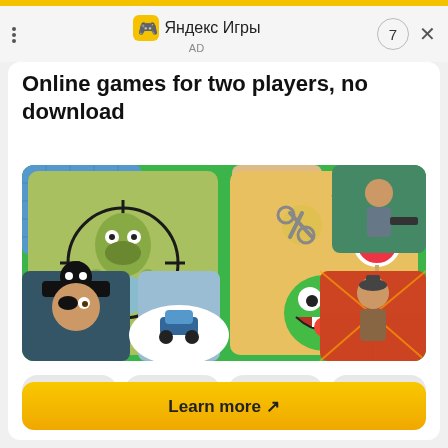Яндекс Игры
AD
Online games for two players, no download
[Figure (illustration): A colorful collage of mobile game icons on a green background: zombie shooter, Cut the Rope, pirate character, winter racing game, and action fighter characters]
Arcade
Adventure
Quizzes
Puzzles
Learn more ↗